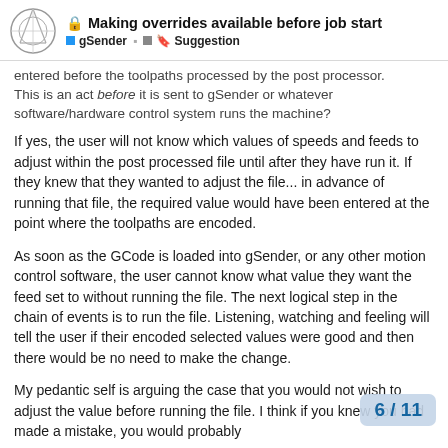Making overrides available before job start | gSender | Suggestion
entered before the toolpaths processed by the post processor. This is an act before it is sent to gSender or whatever software/hardware control system runs the machine?
If yes, the user will not know which values of speeds and feeds to adjust within the post processed file until after they have run it. If they knew that they wanted to adjust the file... in advance of running that file, the required value would have been entered at the point where the toolpaths are encoded.
As soon as the GCode is loaded into gSender, or any other motion control software, the user cannot know what value they want the feed set to without running the file. The next logical step in the chain of events is to run the file. Listening, watching and feeling will tell the user if their encoded selected values were good and then there would be no need to make the change.
My pedantic self is arguing the case that you would not wish to adjust the value before running the file. I th knew you had made a mistake, you would p...